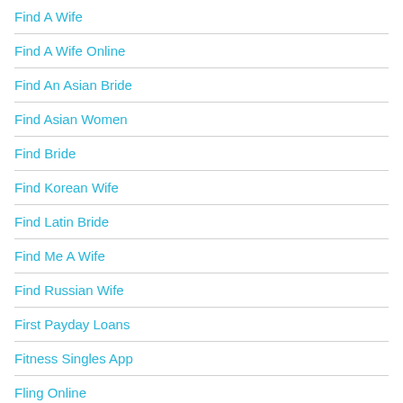Find A Wife
Find A Wife Online
Find An Asian Bride
Find Asian Women
Find Bride
Find Korean Wife
Find Latin Bride
Find Me A Wife
Find Russian Wife
First Payday Loans
Fitness Singles App
Fling Online
Fling promo codes